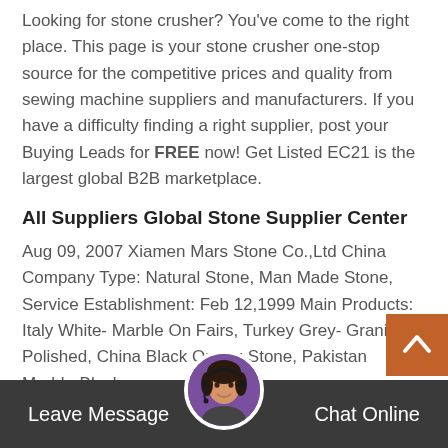Looking for stone crusher? You've come to the right place. This page is your stone crusher one-stop source for the competitive prices and quality from sewing machine suppliers and manufacturers. If you have a difficulty finding a right supplier, post your Buying Leads for FREE now! Get Listed EC21 is the largest global B2B marketplace.
All Suppliers Global Stone Supplier Center
Aug 09, 2007 Xiamen Mars Stone Co.,Ltd China Company Type: Natural Stone, Man Made Stone, Service Establishment: Feb 12,1999 Main Products: Italy White- Marble On Fairs, Turkey Grey- Granite Polished, China Black Quartz Stone, Pakistan Marble-Blocks, ...
Amazon.com rock cr
Mmake Your own Go! Rock crusher 1hp Elec Motor-
[Figure (photo): Chat avatar showing a woman with headset in a purple circle]
Leave Message   Chat Online